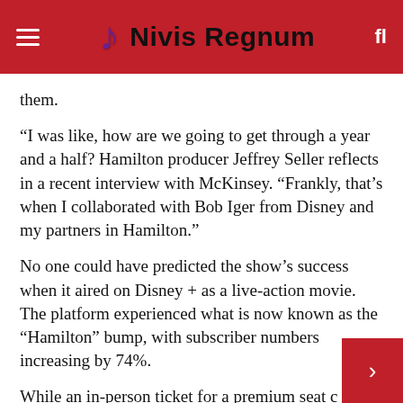Nivis Regnum
them.
“I was like, how are we going to get through a year and a half? Hamilton producer Jeffrey Seller reflects in a recent interview with McKinsey. “Frankly, that’s when I collaborated with Bob Iger from Disney and my partners in Hamilton.”
No one could have predicted the show’s success when it aired on Disney + as a live-action movie. The platform experienced what is now known as the “Hamilton” bump, with subscriber numbers increasing by 74%.
While an in-person ticket for a premium seat c… nearly $ 1,000 in 2016, suddenly a whole famil… to watch the whole musical on Disney + for the…